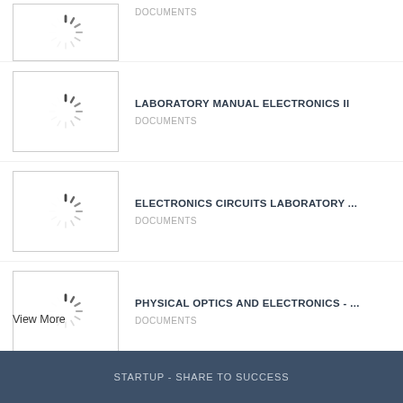[Figure (other): Loading spinner thumbnail for first document]
DOCUMENTS
[Figure (other): Loading spinner thumbnail]
LABORATORY MANUAL ELECTRONICS II
DOCUMENTS
[Figure (other): Loading spinner thumbnail]
ELECTRONICS CIRCUITS LABORATORY ...
DOCUMENTS
[Figure (other): Loading spinner thumbnail]
PHYSICAL OPTICS AND ELECTRONICS - ...
DOCUMENTS
View More
STARTUP - SHARE TO SUCCESS